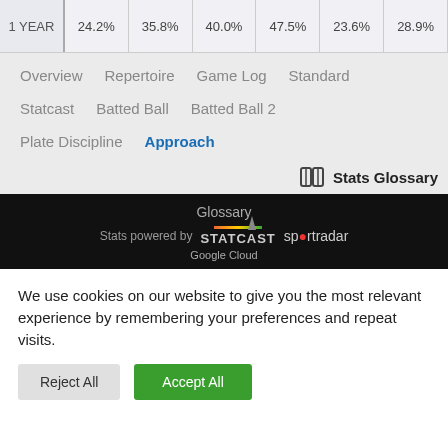| 1 YEAR | 24.2% | 35.8% | 40.0% | 47.5% | 23.6% | 28.9% |
| --- | --- | --- | --- | --- | --- | --- |
Overview   Repertoire   Game Log   Standard   Statcast   Batted Ball   Batted Ball 2   Plate Discipline   Approach
Stats Glossary
Glossary
Stats powered by STATCAST sportradar Google Cloud
We use cookies on our website to give you the most relevant experience by remembering your preferences and repeat visits.
Reject All
Accept All